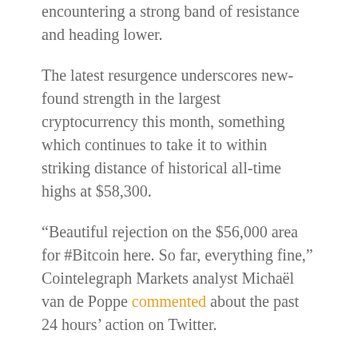encountering a strong band of resistance and heading lower.
The latest resurgence underscores new-found strength in the largest cryptocurrency this month, something which continues to take it to within striking distance of historical all-time highs at $58,300.
“Beautiful rejection on the $56,000 area for #Bitcoin here. So far, everything fine,” Cointelegraph Markets analyst Michaël van de Poppe commented about the past 24 hours’ action on Twitter.